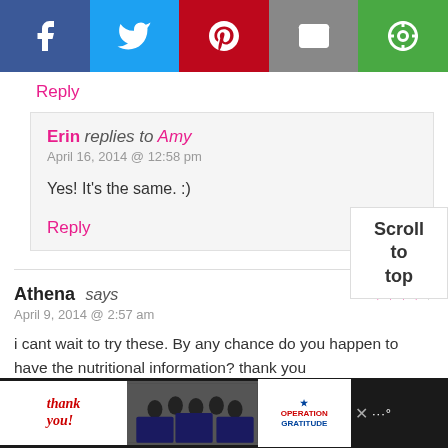[Figure (screenshot): Social share bar with Facebook, Twitter, Pinterest, Email, and GetResponse buttons]
Reply
Erin replies to Amy
April 16, 2014 @ 12:58 pm
Yes! It's the same. :)
Reply
Athena says
April 9, 2014 @ 2:57 am
i cant wait to try these. By any chance do you happen to have the nutritional information? thank you
[Figure (screenshot): Advertisement bar at bottom: Operation Gratitude thank you ad]